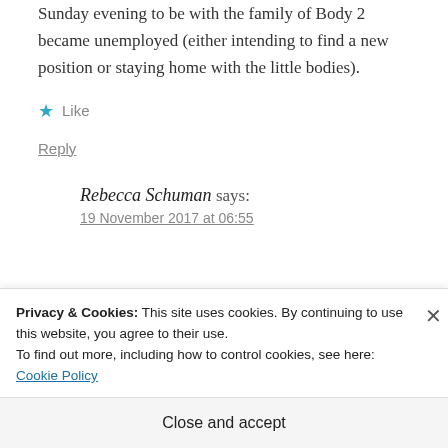Sunday evening to be with the family of Body 2 became unemployed (either intending to find a new position or staying home with the little bodies).
★ Like
Reply
Rebecca Schuman says:
19 November 2017 at 06:55
Privacy & Cookies: This site uses cookies. By continuing to use this website, you agree to their use.
To find out more, including how to control cookies, see here: Cookie Policy
Close and accept